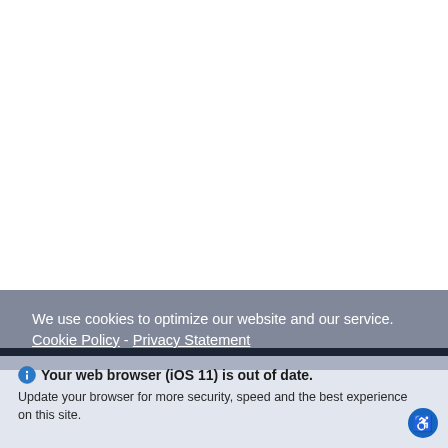[Figure (screenshot): White blank area representing a webpage screenshot background, mostly empty/white upper portion.]
We use cookies to optimize our website and our service.  Cookie Policy -  Privacy Statement
Your web browser (iOS 11) is out of date. Update your browser for more security, speed and the best experience on this site.
[Figure (logo): Mycarpark.com watermark logo with cursive 'by Tahrney' subtitle, shown semi-transparent in grey-green and grey-blue colors.]